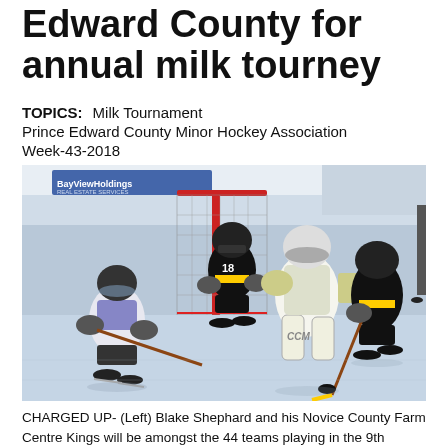Edward County for annual milk tourney
TOPICS:   Milk Tournament
Prince Edward County Minor Hockey Association
Week-43-2018
[Figure (photo): Youth hockey players in action near the goal net during a game. A player in white/purple jersey (Blake Shephard) and players in black-and-yellow jerseys, including a goalie in CCM pads. Indoor ice rink setting with BayViewHoldings advertisement banner visible.]
CHARGED UP- (Left) Blake Shephard and his Novice County Farm Centre Kings will be amongst the 44 teams playing in the 9th annual Rednerss with Milk Minor Hockey Tournament...